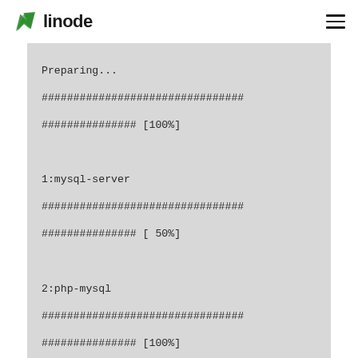linode
Preparing...
################################
############### [100%]

1:mysql-server
################################
############### [ 50%]

2:php-mysql
################################
############### [100%]

[root@Slick root]# service httpd start

Starting httpd:

[root@Slick root]# service mysqld start